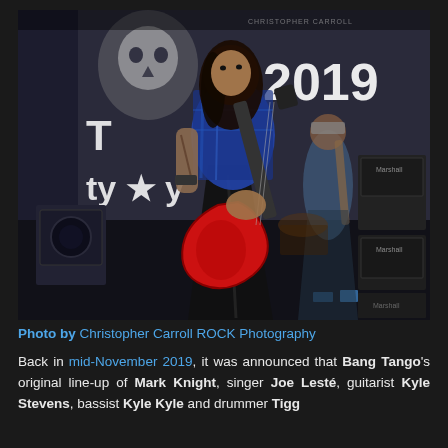[Figure (photo): Concert photo of guitarist playing a red electric guitar on stage, jumping energetically in front of a banner that reads '2019' with a skull logo. Another guitarist visible in background. Marshall amplifiers on right side. Photo watermark: Christopher Carroll ROCK Photography.]
Photo by Christopher Carroll ROCK Photography
Back in mid-November 2019, it was announced that Bang Tango's original line-up of Mark Knight, singer Joe Lesté, guitarist Kyle Stevens, bassist Kyle Kyle and drummer Tigg